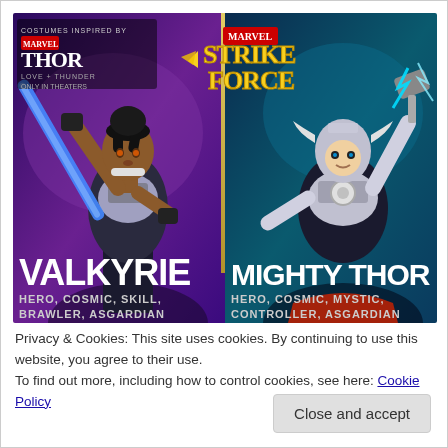[Figure (illustration): Marvel Strike Force game promotional image showing two characters: Valkyrie (left) - a dark-skinned female warrior with braided hair holding a blue sword, labeled HERO, COSMIC, SKILL, BRAWLER, ASGARDIAN; and Mighty Thor (right) - a female Thor with helmet wielding Mjolnir with lightning, labeled HERO, COSMIC, MYSTIC, CONTROLLER, ASGARDIAN. Marvel Strike Force logo at top center. Thor: Love and Thunder movie tie-in text at top left. Background is purple/teal gradient.]
Privacy & Cookies: This site uses cookies. By continuing to use this website, you agree to their use.
To find out more, including how to control cookies, see here: Cookie Policy